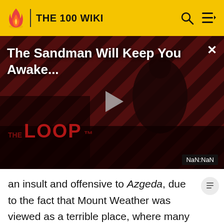THE 100 WIKI
[Figure (screenshot): Video player showing 'The Sandman Will Keep You Awake...' with a dark figure on a red diagonal striped background, THE LOOP branding, play button, and NaN:NaN timestamp]
an insult and offensive to Azgeda, due to the fact that Mount Weather was viewed as a terrible place, where many Grounders have been killed. With the help of Carl Emerson, the last surviving Mountain Man, Azgeda blew up Mount Weather, causing the deaths of 49 Sky People.